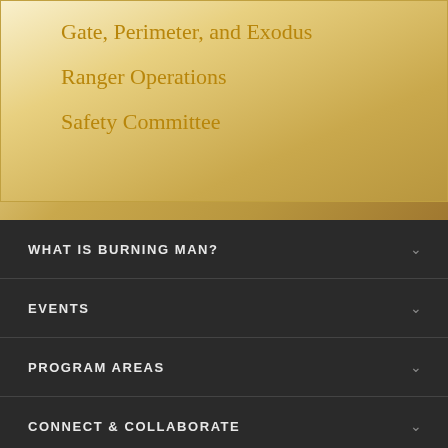Gate, Perimeter, and Exodus
Ranger Operations
Safety Committee
WHAT IS BURNING MAN?
EVENTS
PROGRAM AREAS
CONNECT & COLLABORATE
NEWS & STORYTELLING
DONATE
BOOKSTORE / MARKETPLACE